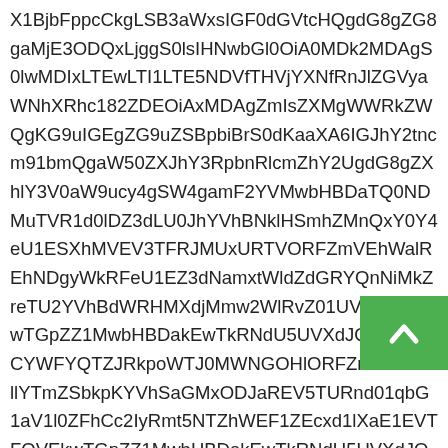X1BjbFppcCkgLSB3aWxsIGF0dGVtcHQgdG8gZG8gaMjE3ODQxLjggS0lsIHNwbGl0OiA0MDk2MDAgS0lwMDIxLTEwLTI1LTE5NDVfTHVjYXNfRnJlZGVyaWNhXRhc182ZDEOiAxMDAgZmIsZXMgWWRkZWQgKG9uIGEgZG9uZSBpbiBrS0dKaaXA6IGJhY2tncm91bmQgaW50ZXJhY3RpbnRlcmZhY2UgdG8gZXhlY3V0aW9ucy4gSW4gamF2YVMwbHBDaTQ0NDMuTVR1d0lDZ3dLU0JhYVhBNklHSmhZMnQxY0Y4eU1ESXhMVEV3TFRJMUxURTVORFZmVEhWalREhNDgyWkRFeU1EZ3dNamxtWldZdGRYQnNiMkZreTU2YVhBdWRHMXdjMmw2WlRvZ01UVTFOVEkwTGpZZ1MwbHBDakEwTkRNdU5UVXdJQ2d3S1NCYWFYQTZJRkpoWTJ0MWNGOHlORFZmVEhWallYTmZSbkpKYVhSaGMxODJaREV5TURnd01qbG1aV1l0ZFhCc2IyRmt5NTZhWEF1ZEcxd1lXaE1EVTFOVEkwTGpZZ1MwbHBDakEwTkRNdU5UVXdJQ2d3S1NCYWFYQTZJRkpoWTJ0MWNGOHlNREl4TFRFd0xUSXhMVEU1TkRWZlRIVmpZWE5mUm5KSmFYUmhjMTgyWkRFeU1EZ3dNamxtWldZdGRYQnNiMkZreTU2WVdJQTFNREFnWm1sc1pYTWdZV1JrWldRZ0tHOXVMV1JwYzJnYVhSaGMxODJaREV5TURnd01qbG1aV1l0ZENCc2IyRmt5NTZhWEF1ZEcxd0lDZ3dLU0JhYVhBNklHSmhZMnQxY0Y4eU1ESXhMVEV3TFRJMUxURTVORFZmVEhWallYTmZSbkpKWldZdGRYQnNiMkZreTU2YVhSaGMxODJaREV5TURnd01qbG1aV1l0ZFhCc2IyRmt5NTZhWFJoYzE4MlpERXlNRGd3TWpsbVpXWXRkWEJzYjJGa3k1NmFYUmhjMTgyVk10TFBRPT0=
[Figure (other): Green scroll-to-top button with white upward chevron arrow, positioned at bottom right of the page]